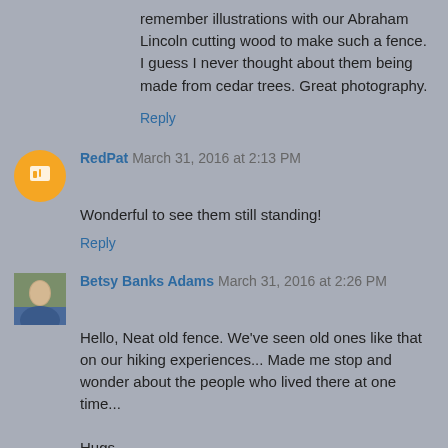remember illustrations with our Abraham Lincoln cutting wood to make such a fence. I guess I never thought about them being made from cedar trees. Great photography.
Reply
RedPat  March 31, 2016 at 2:13 PM
Wonderful to see them still standing!
Reply
Betsy Banks Adams  March 31, 2016 at 2:26 PM
Hello, Neat old fence. We've seen old ones like that on our hiking experiences... Made me stop and wonder about the people who lived there at one time...

Hugs,
Betsy
Reply